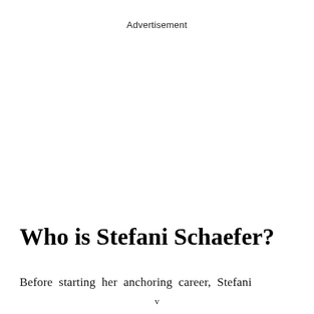Advertisement
Who is Stefani Schaefer?
Before starting her anchoring career, Stefani
v